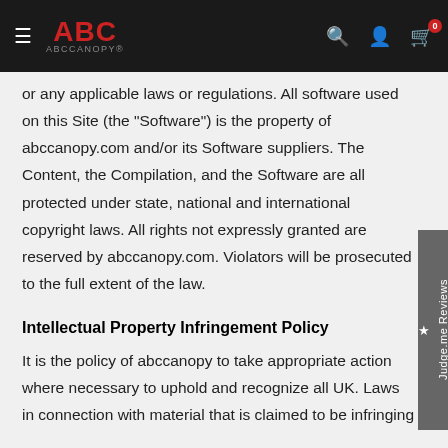ABC ABCCANOPY [navigation bar with search, account, and cart icons]
or any applicable laws or regulations. All software used on this Site (the "Software") is the property of abccanopy.com and/or its Software suppliers. The Content, the Compilation, and the Software are all protected under state, national and international copyright laws. All rights not expressly granted are reserved by abccanopy.com. Violators will be prosecuted to the full extent of the law.
Intellectual Property Infringement Policy
It is the policy of abccanopy to take appropriate action where necessary to uphold and recognize all UK. Laws in connection with material that is claimed to be infringing